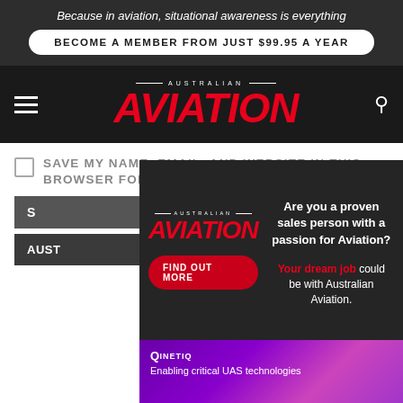Because in aviation, situational awareness is everything
BECOME A MEMBER FROM JUST $99.95 A YEAR
[Figure (logo): Australian Aviation logo with red bold italic AVIATION text]
SAVE MY NAME, EMAIL, AND WEBSITE IN THIS BROWSER FOR THE NEXT TIME I COMMENT
S
AUST
[Figure (infographic): Advertisement overlay for Australian Aviation jobs: 'Are you a proven sales person with a passion for Aviation? Your dream job could be with Australian Aviation.' with FIND OUT MORE button]
[Figure (infographic): QinetiQ advertisement: Enabling critical UAS technologies, showing drone and device imagery]
Thriving in a tight talent market